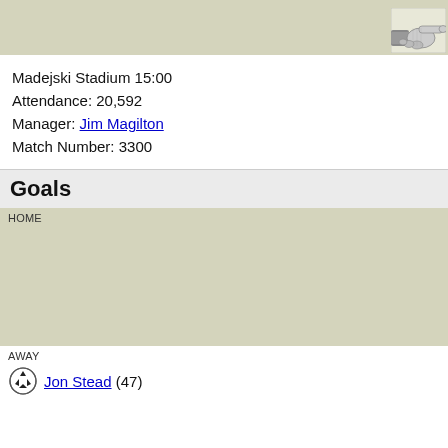[Figure (illustration): Top banner with a hand pointing right icon in the upper right corner]
Madejski Stadium 15:00
Attendance: 20,592
Manager: Jim Magilton
Match Number: 3300
Goals
HOME
AWAY
Jon Stead (47)